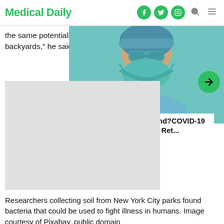Medical Daily
the same potentially backyards," he said
[Figure (screenshot): Medical Daily website screenshot showing a carousel card with a person wearing a blue surgical mask and the headline: What Is Paxlovid Rebound?COVID-19 Symptoms Mysteriously Ret... with a green arrow button and green left border accent.]
[Figure (photo): Gray placeholder rectangle representing an advertisement or embedded image block.]
Researchers collecting soil from New York City parks found bacteria that could be used to fight illness in humans. Image courtesy of Pixabay, public domain